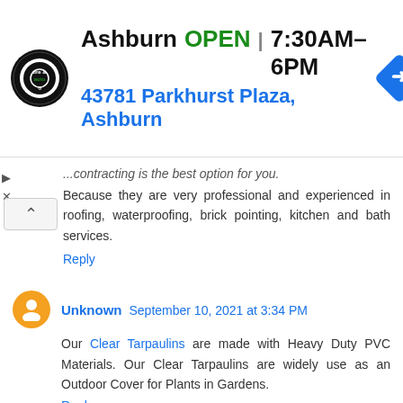[Figure (infographic): Advertisement banner for Ashburn tire & auto business. Shows circular logo, business name 'Ashburn', 'OPEN' in green, hours '7:30AM–6PM', address '43781 Parkhurst Plaza, Ashburn' in blue, and a blue diamond navigation arrow icon.]
...contracting is the best option for you. Because they are very professional and experienced in roofing, waterproofing, brick pointing, kitchen and bath services.
Reply
Unknown September 10, 2021 at 3:34 PM
Our Clear Tarpaulins are made with Heavy Duty PVC Materials. Our Clear Tarpaulins are widely use as an Outdoor Cover for Plants in Gardens.
Reply
Unknown September 25, 2021 at 10:53 PM
Our Waterproof Tarpaulin are also used to protect goods